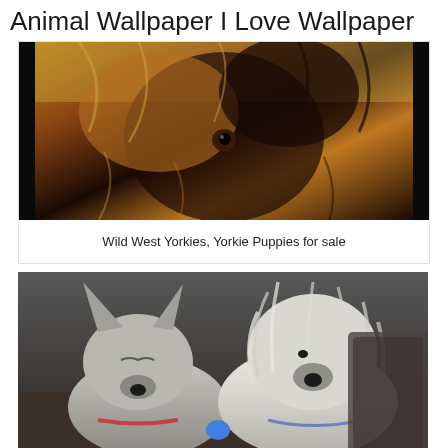Animal Wallpaper I Love Wallpaper
[Figure (photo): Close-up photo of a Yorkshire Terrier puppy with fluffy brown and black fur, looking at camera with large dark eyes]
Wild West Yorkies, Yorkie Puppies for sale
[Figure (photo): Two small fluffy dogs seated side by side in what appears to be a car interior — one grey/white terrier and one with long flowing white hair]